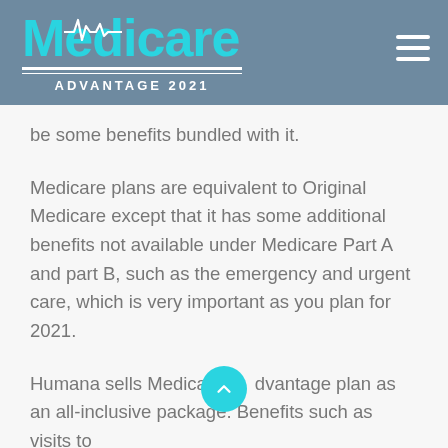Medicare Advantage 2021
be some benefits bundled with it.
Medicare plans are equivalent to Original Medicare except that it has some additional benefits not available under Medicare Part A and part B, such as the emergency and urgent care, which is very important as you plan for 2021.
Humana sells Medicare Advantage plan as an all-inclusive package. Benefits such as visits to